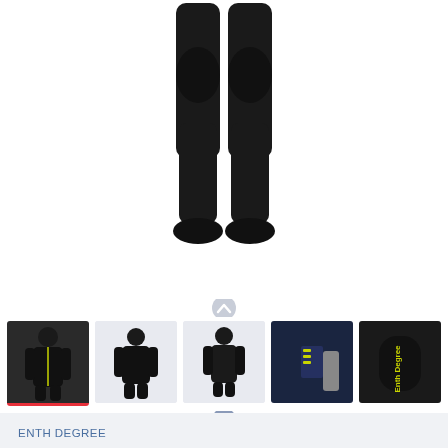[Figure (photo): Lower half of a person wearing a black full wetsuit, showing legs and feet against a white background]
[Figure (photo): Thumbnail gallery of wetsuit product images: front view of model wearing wetsuit, back view, front facing, close-up of chest panel with logo, and close-up of arm with Enth Degree branding]
ENTH DEGREE
BARRIER FULL SUIT Men ENTH DEGREE